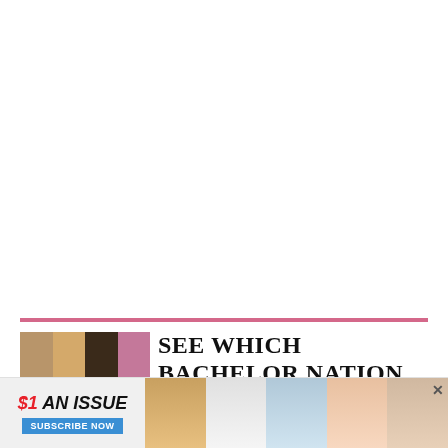[Figure (illustration): White blank area occupying upper portion of page]
[Figure (illustration): Pink horizontal divider line]
[Figure (photo): Strip of four celebrity photos showing Bachelor Nation stars]
SEE WHICH BACHELOR NATION STARS HAVE
[Figure (infographic): Advertisement banner: $1 AN ISSUE with SUBSCRIBE NOW button and magazine cover thumbnails]